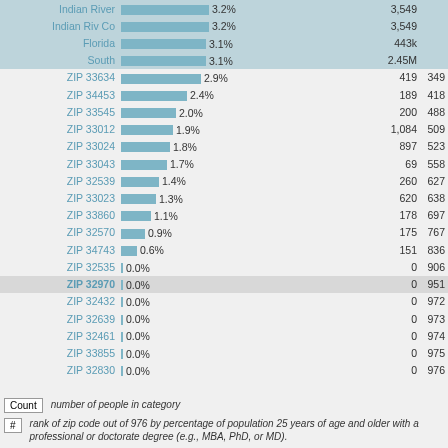| Area | Percentage |  | Count | # |
| --- | --- | --- | --- | --- |
| Indian River | 3.2% |  | 3,549 |  |
| Indian Riv Co | 3.2% |  | 3,549 |  |
| Florida | 3.1% |  | 443k |  |
| South | 3.1% |  | 2.45M |  |
| ZIP 33634 | 2.9% |  | 419 | 349 |
| ZIP 34453 | 2.4% |  | 189 | 418 |
| ZIP 33545 | 2.0% |  | 200 | 488 |
| ZIP 33012 | 1.9% |  | 1,084 | 509 |
| ZIP 33024 | 1.8% |  | 897 | 523 |
| ZIP 33043 | 1.7% |  | 69 | 558 |
| ZIP 32539 | 1.4% |  | 260 | 627 |
| ZIP 33023 | 1.3% |  | 620 | 638 |
| ZIP 33860 | 1.1% |  | 178 | 697 |
| ZIP 32570 | 0.9% |  | 175 | 767 |
| ZIP 34743 | 0.6% |  | 151 | 836 |
| ZIP 32535 | 0.0% |  | 0 | 906 |
| ZIP 32970 | 0.0% |  | 0 | 951 |
| ZIP 32432 | 0.0% |  | 0 | 972 |
| ZIP 32639 | 0.0% |  | 0 | 973 |
| ZIP 32461 | 0.0% |  | 0 | 974 |
| ZIP 33855 | 0.0% |  | 0 | 975 |
| ZIP 32830 | 0.0% |  | 0 | 976 |
Count  number of people in category
#  rank of zip code out of 976 by percentage of population 25 years of age and older with a professional or doctorate degree (e.g., MBA, PhD, or MD).